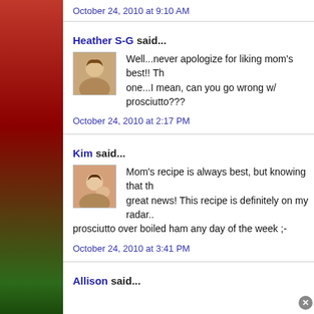October 24, 2010 at 9:10 AM
Heather S-G said...
Well...never apologize for liking mom's best!! Th... one...I mean, can you go wrong w/ prosciutto???
October 24, 2010 at 2:17 PM
Kim said...
Mom's recipe is always best, but knowing that th... great news! This recipe is definitely on my radar.... prosciutto over boiled ham any day of the week ;-
October 24, 2010 at 3:41 PM
Allison said...